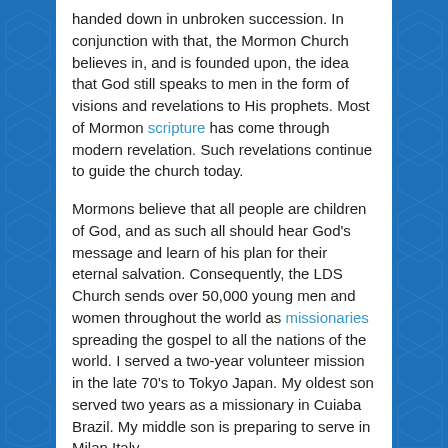handed down in unbroken succession. In conjunction with that, the Mormon Church believes in, and is founded upon, the idea that God still speaks to men in the form of visions and revelations to His prophets. Most of Mormon scripture has come through modern revelation. Such revelations continue to guide the church today.
Mormons believe that all people are children of God, and as such all should hear God’s message and learn of his plan for their eternal salvation. Consequently, the LDS Church sends over 50,000 young men and women throughout the world as missionaries spreading the gospel to all the nations of the world. I served a two-year volunteer mission in the late 70’s to Tokyo Japan. My oldest son served two years as a missionary in Cuiaba Brazil. My middle son is preparing to serve in Milan Italy.
Another belief that sets the Mormon Church apart revolves around the importance of temples. The Mormon Church believes that there are truths and ordinances necessary for people to return to God which can only be found in temples. All worthy adult members of the LDS Church can go to any of the Church’s